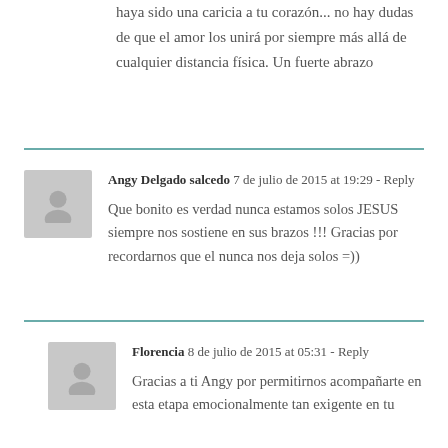haya sido una caricia a tu corazón... no hay dudas de que el amor los unirá por siempre más allá de cualquier distancia física. Un fuerte abrazo
Angy Delgado salcedo  7 de julio de 2015 at 19:29 - Reply
Que bonito es verdad nunca estamos solos JESUS siempre nos sostiene en sus brazos !!! Gracias por recordarnos que el nunca nos deja solos =))
Florencia  8 de julio de 2015 at 05:31 - Reply
Gracias a ti Angy por permitirnos acompañarte en esta etapa emocionalmente tan exigente en tu